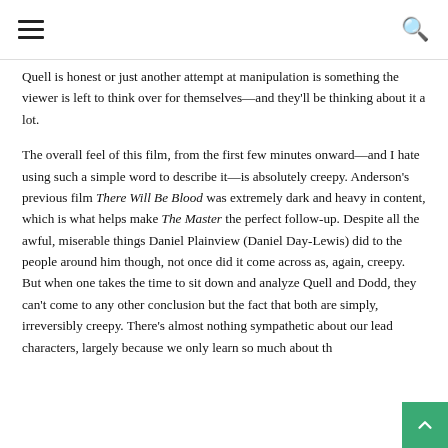[hamburger menu] [search icon]
Quell is honest or just another attempt at manipulation is something the viewer is left to think over for themselves—and they'll be thinking about it a lot.
The overall feel of this film, from the first few minutes onward—and I hate using such a simple word to describe it—is absolutely creepy. Anderson's previous film There Will Be Blood was extremely dark and heavy in content, which is what helps make The Master the perfect follow-up. Despite all the awful, miserable things Daniel Plainview (Daniel Day-Lewis) did to the people around him though, not once did it come across as, again, creepy. But when one takes the time to sit down and analyze Quell and Dodd, they can't come to any other conclusion but the fact that both are simply, irreversibly creepy. There's almost nothing sympathetic about our lead characters, largely because we only learn so much about th